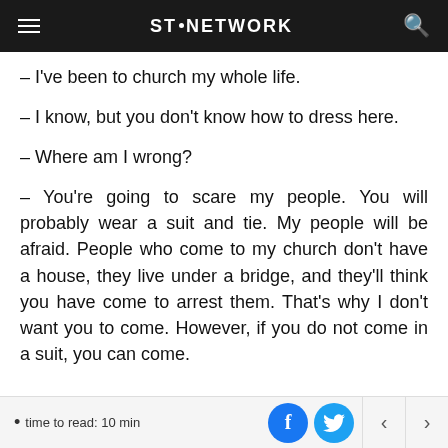ST. NETWORK
– I've been to church my whole life.
– I know, but you don't know how to dress here.
– Where am I wrong?
– You're going to scare my people. You will probably wear a suit and tie. My people will be afraid. People who come to my church don't have a house, they live under a bridge, and they'll think you have come to arrest them. That's why I don't want you to come. However, if you do not come in a suit, you can come.
• time to read: 10 min